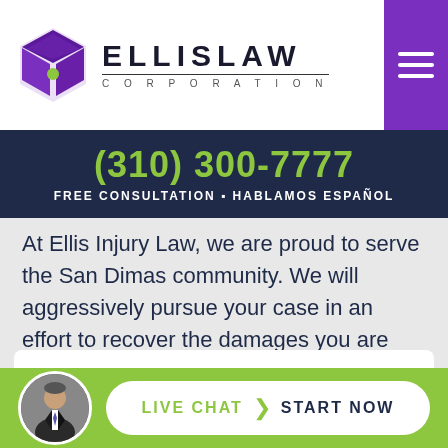[Figure (logo): Ellis Law Corporation logo with purple geometric diamond shape icon and bold text ELLISLAW CORPORATION]
(310) 300-7777
FREE CONSULTATION ⬥ HABLAMOS ESPAÑOL
At Ellis Injury Law, we are proud to serve the San Dimas community. We will aggressively pursue your case in an effort to recover the damages you are entitled to. Call now to schedule your free consultation with Ellis Injury Law.
LIVE CHAT  START NOW